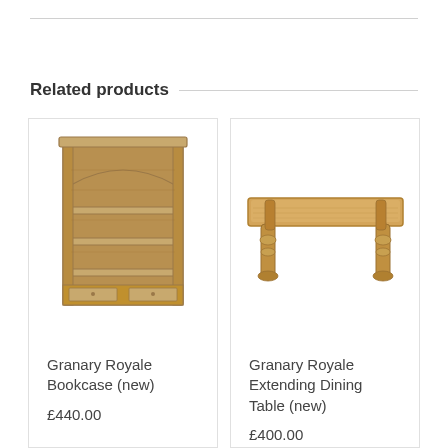Related products
[Figure (photo): Wooden bookcase with four open shelves and two bottom drawers, rustic granary style]
Granary Royale Bookcase (new)
£440.00
[Figure (photo): Light wood extending dining table with turned legs, rustic granary style]
Granary Royale Extending Dining Table (new)
£400.00